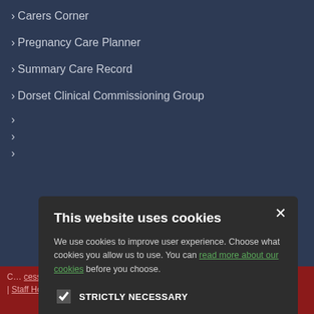› Carers Corner
› Pregnancy Care Planner
› Summary Care Record
› Dorset Clinical Commissioning Group
[Figure (screenshot): Cookie consent modal dialog with title 'This website uses cookies', descriptive text with link 'read more about our cookies', four checkboxes (STRICTLY NECESSARY checked, PERFORMANCE, TARGETING, FUNCTIONALITY unchecked), and two buttons: ACCEPT ALL (green) and DECLINE ALL (outlined white)]
C... cessing Policy | Edit | Staff Home | Site Map | Accessibility | Site T&C's | Cookie Policy